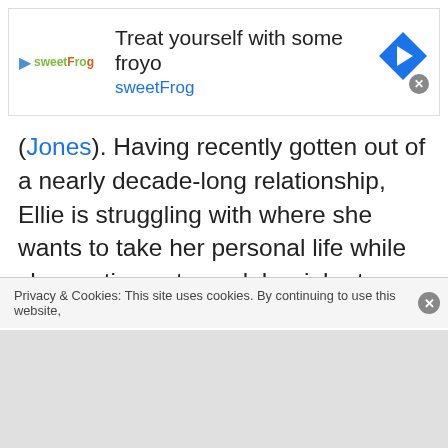[Figure (other): sweetFrog advertisement banner: logo with play button icon and sweetFrog text, headline 'Treat yourself with some froyo', subtitle 'sweetFrog', blue diamond navigation icon with right arrow, close button]
(Jones). Having recently gotten out of a nearly decade-long relationship, Ellie is struggling with where she wants to take her personal life while she continues to work her job at a newspaper. When a trip to the archives room of her office gifts Ellie with a letter from a mysterious love affair decades earlier, as well as a new romantic prospect, Ellie’s life seems poised for big changes. If she can summon the courage to take the
Privacy & Cookies: This site uses cookies. By continuing to use this website,